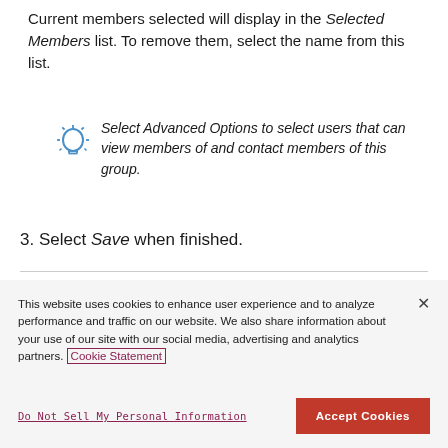Current members selected will display in the Selected Members list. To remove them, select the name from this list.
Select Advanced Options to select users that can view members of and contact members of this group.
3. Select Save when finished.
This website uses cookies to enhance user experience and to analyze performance and traffic on our website. We also share information about your use of our site with our social media, advertising and analytics partners. Cookie Statement
Do Not Sell My Personal Information
Accept Cookies